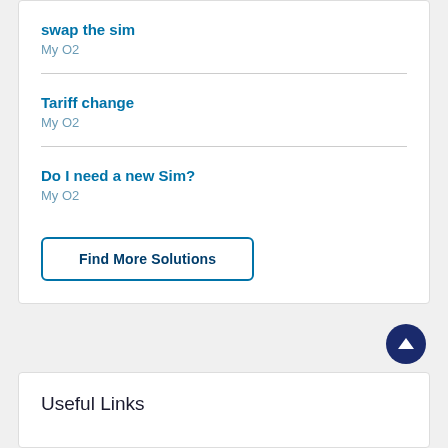swap the sim
My O2
Tariff change
My O2
Do I need a new Sim?
My O2
Find More Solutions
Useful Links